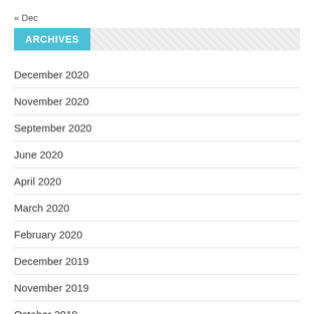« Dec
ARCHIVES
December 2020
November 2020
September 2020
June 2020
April 2020
March 2020
February 2020
December 2019
November 2019
October 2019